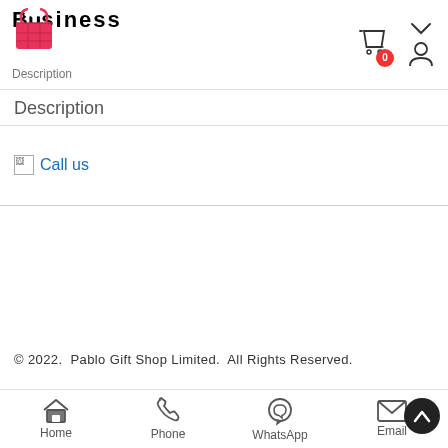[Figure (logo): Pablo Gift Shop logo: red basket with gift bow icon overlapping bold text 'Business']
Description
[Figure (other): Broken image placeholder with 'Call us' link text]
© 2022. Pablo Gift Shop Limited. All Rights Reserved.
[Figure (infographic): Bottom navigation bar with Home, Phone, WhatsApp, Email icons and a scroll-to-top button]